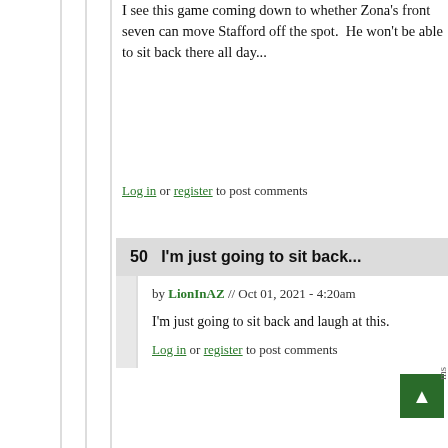I see this game coming down to whether Zona's front seven can move Stafford off the spot.  He won't be able to sit back there all day...
Log in or register to post comments
50   I'm just going to sit back...
by LionInAZ // Oct 01, 2021 - 4:20am
I'm just going to sit back and laugh at this.
Log in or register to post comments